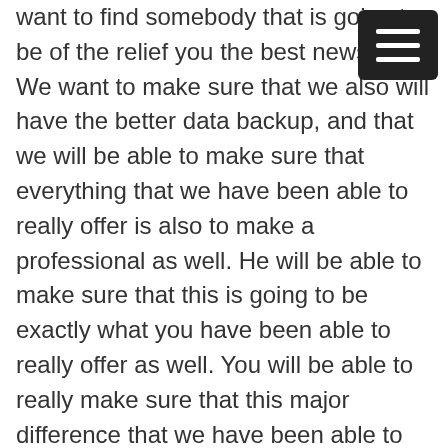want to find somebody that is going to be of the relief you the best news yet. We want to make sure that we also will have the better data backup, and that we will be able to make sure that everything that we have been able to really offer is also to make a professional as well. He will be able to make sure that this is going to be exactly what you have been able to really offer as well. You will be able to really make sure that this major difference that we have been able to provide for you is truly going to be the ones today. Parish now we want to make sure that you will be able to show you that these are going to be exactly what you have always wanted.

You can see that we will be found on's sca-